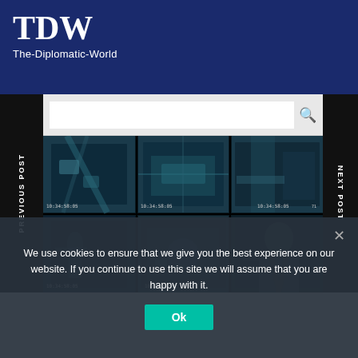TDW
The-Diplomatic-World
PREVIOUS POST
NEXT POST
[Figure (screenshot): CCTV surveillance grid showing 6 camera feeds of street scenes, intersections, and pedestrians with timestamps showing 10:34:58:05]
We use cookies to ensure that we give you the best experience on our website. If you continue to use this site we will assume that you are happy with it.
Ok